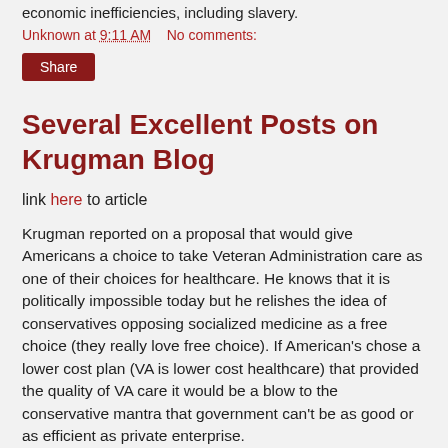economic inefficiencies, including slavery.
Unknown at 9:11 AM    No comments:
Share
Several Excellent Posts on Krugman Blog
link here to article
Krugman reported on a proposal that would give Americans a choice to take Veteran Administration care as one of their choices for healthcare. He knows that it is politically impossible today but he relishes the idea of conservatives opposing socialized medicine as a free choice (they really love free choice). If American's chose a lower cost plan (VA is lower cost healthcare) that provided the quality of VA care it would be a blow to the conservative mantra that government can't be as good or as efficient as private enterprise.